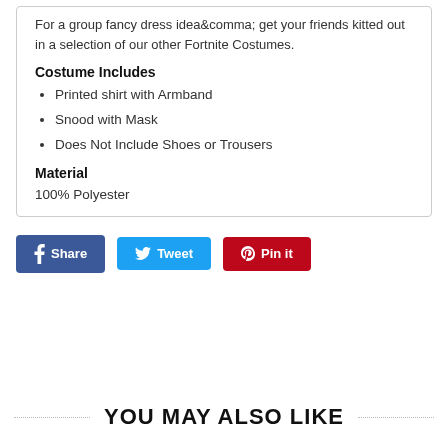For a group fancy dress idea&comma; get your friends kitted out in a selection of our other Fortnite Costumes.
Costume Includes
Printed shirt with Armband
Snood with Mask
Does Not Include Shoes or Trousers
Material
100% Polyester
[Figure (other): Social sharing buttons: Share (Facebook, blue), Tweet (Twitter, cyan), Pin it (Pinterest, red)]
YOU MAY ALSO LIKE